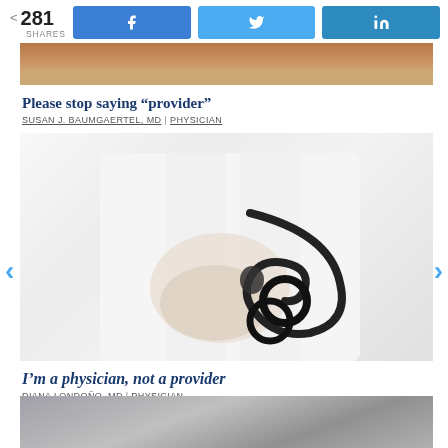281 SHARES | Facebook | Twitter | LinkedIn
[Figure (photo): Partial cropped photo at top of page, warm tones - hair/person visible]
Please stop saying “provider”
SUSAN J. BAUMGAERTEL, MD | PHYSICIAN
[Figure (photo): Physician in white coat holding a stethoscope against a grey wall background]
I’m a physician, not a provider
DIANA LONDOÑO, MD | PHYSICIAN
[Figure (photo): Partial cropped photo at bottom of page, grey tones]